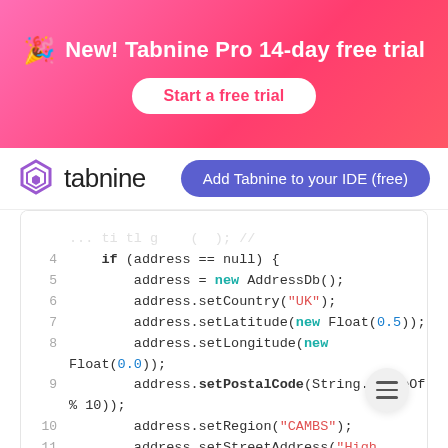[Figure (infographic): Pink gradient banner with party popper icon and text 'New! Tabnine Pro 14-day free trial' and a 'Start a free trial' button]
[Figure (logo): Tabnine logo with purple hexagon icon and 'tabnine' text, alongside 'Add Tabnine to your IDE (free)' button]
[Figure (screenshot): Code editor screenshot showing Java code with address object initialization, setting country UK, latitude, longitude, postal code, region CAMBS, street address High Street, type sometype, formatted address, locality, primary false, type home]